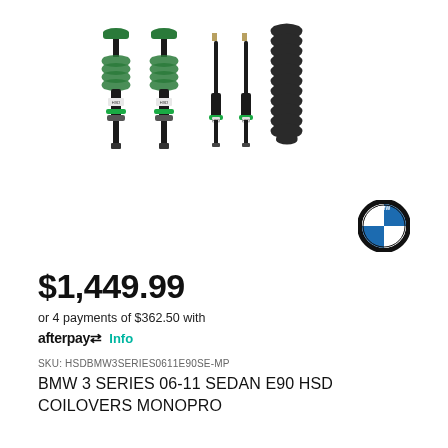[Figure (photo): Five coilover suspension components (two front with green springs and two rear struts plus one coil spring) for BMW, displayed vertically side by side on white background]
[Figure (logo): BMW roundel logo - circular badge with blue and white quadrants and black ring with BMW text]
$1,449.99
or 4 payments of $362.50 with afterpay Info
SKU: HSDBMW3SERIES0611E90SE-MP
BMW 3 SERIES 06-11 SEDAN E90 HSD COILOVERS MONOPRO